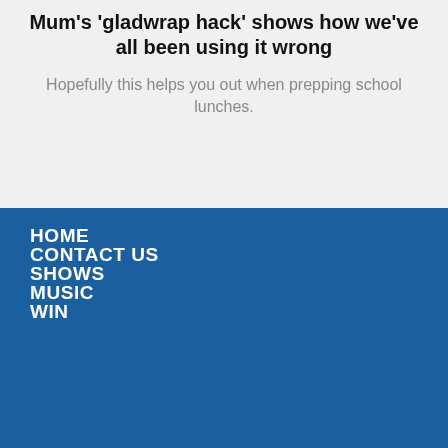Mum's 'gladwrap hack' shows how we've all been using it wrong
Hopefully this helps you out when prepping school lunches.
HOME
CONTACT US
SHOWS
MUSIC
WIN